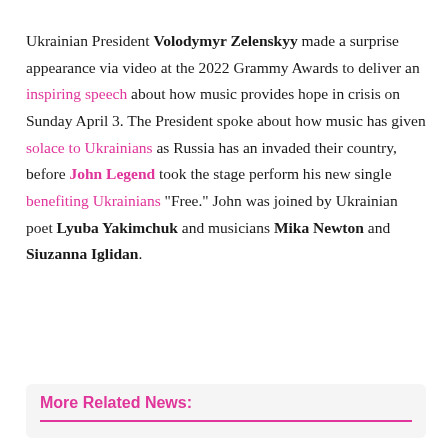Ukrainian President Volodymyr Zelenskyy made a surprise appearance via video at the 2022 Grammy Awards to deliver an inspiring speech about how music provides hope in crisis on Sunday April 3. The President spoke about how music has given solace to Ukrainians as Russia has an invaded their country, before John Legend took the stage perform his new single benefiting Ukrainians "Free." John was joined by Ukrainian poet Lyuba Yakimchuk and musicians Mika Newton and Siuzanna Iglidan.
More Related News: